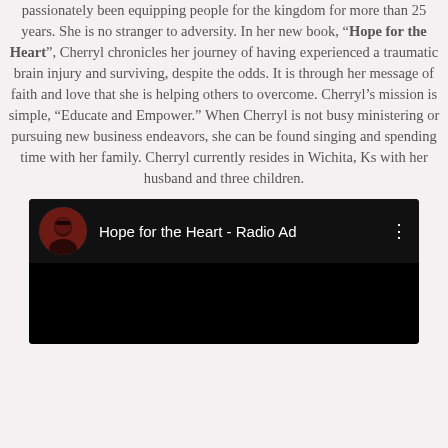passionately been equipping people for the kingdom for more than 25 years. She is no stranger to adversity. In her new book, “Hope for the Heart”, Cherryl chronicles her journey of having experienced a traumatic brain injury and surviving, despite the odds. It is through her message of faith and love that she is helping others to overcome. Cherryl’s mission is simple, “Educate and Empower.” When Cherryl is not busy ministering or pursuing new business endeavors, she can be found singing and spending time with her family. Cherryl currently resides in Wichita, Ks with her husband and three children.
[Figure (screenshot): Embedded video thumbnail showing a YouTube-style video player with a circular avatar of a woman, the title 'Hope for the Heart - Radio Ad', and a black video area.]